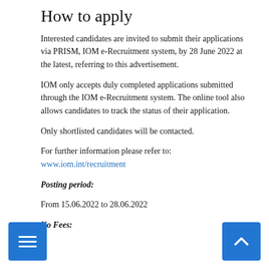How to apply
Interested candidates are invited to submit their applications via PRISM, IOM e-Recruitment system, by 28 June 2022 at the latest, referring to this advertisement.
IOM only accepts duly completed applications submitted through the IOM e-Recruitment system. The online tool also allows candidates to track the status of their application.
Only shortlisted candidates will be contacted.
For further information please refer to: www.iom.int/recruitment
Posting period:
From 15.06.2022 to 28.06.2022
No Fees: